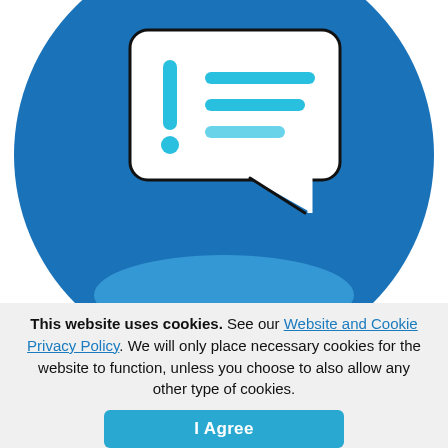[Figure (illustration): A blue circle with a white speech bubble containing a blue exclamation mark and two blue horizontal lines (representing a message). Below is a reflection/shadow of the circle in lighter blue.]
This website uses cookies. See our Website and Cookie Privacy Policy. We will only place necessary cookies for the website to function, unless you choose to also allow any other type of cookies.
I Agree